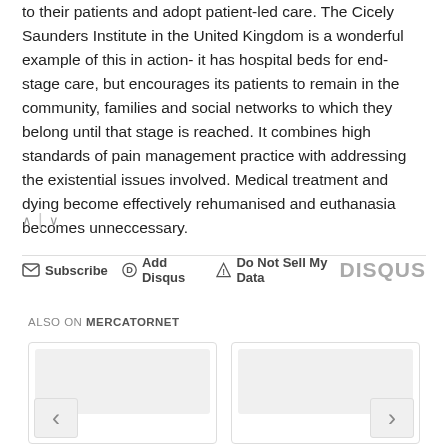to their patients and adopt patient-led care. The Cicely Saunders Institute in the United Kingdom is a wonderful example of this in action- it has hospital beds for end-stage care, but encourages its patients to remain in the community, families and social networks to which they belong until that stage is reached. It combines high standards of pain management practice with addressing the existential issues involved. Medical treatment and dying become effectively rehumanised and euthanasia becomes unneccessary.
∧ | ∨
Subscribe  Add Disqus  Do Not Sell My Data  DISQUS
ALSO ON MERCATORNET
[Figure (screenshot): Two article card thumbnails side by side with left and right navigation arrows]